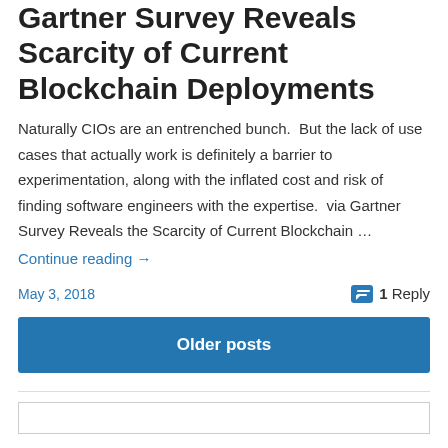Gartner Survey Reveals Scarcity of Current Blockchain Deployments
Naturally CIOs are an entrenched bunch.  But the lack of use cases that actually work is definitely a barrier to experimentation, along with the inflated cost and risk of finding software engineers with the expertise.  via Gartner Survey Reveals the Scarcity of Current Blockchain …
Continue reading →
May 3, 2018   1 Reply
Older posts